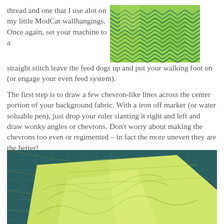thread and one that I use alot on my little ModCat wallhangings.  Once again, set your machine to a straight stitch leave the feed dogs up and put your walking foot on (or engage your even feed system).
[Figure (photo): Close-up photo of green chevron/zigzag quilting stitches on fabric]
The first step is to draw a few chevron-like lines across the center portion of your background fabric.  With a iron off marker (or water soluable pen),  just drop your ruler slanting it right and left and draw wonky angles or chevrons.  Don't worry about making the chevrons too even or regimented – in fact the more uneven they are the better!
[Figure (photo): Photo showing light green/yellow fabric laid out on a dark teal cutting mat with grid lines visible]